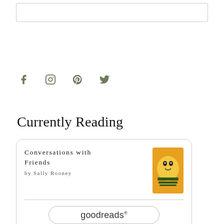[Figure (other): Top rectangular box/banner area, white with light border]
[Figure (other): Social media icons: Facebook, Instagram, Pinterest, Twitter in muted green/olive color]
Currently Reading
[Figure (other): Goodreads widget card showing book 'Conversations with Friends by Sally Rooney' with book cover image and Goodreads button]